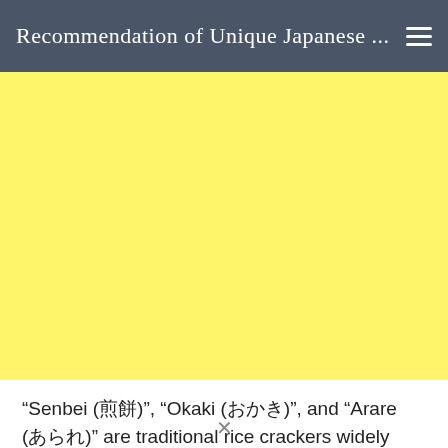Recommendation of Unique Japanese ...
[Figure (photo): Large yellow rectangle placeholder image area]
“Senbei (煎餅)”, “Okaki (おかき)”, and “Arare (あられ)” are traditional rice crackers widely enjoyed in Japan.